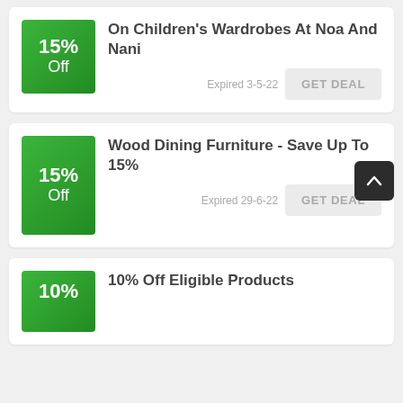[Figure (infographic): Deal card 1: 15% Off badge (green), title 'On Children's Wardrobes At Noa And Nani', Expired 3-5-22, GET DEAL button]
[Figure (infographic): Deal card 2: 15% Off badge (green), title 'Wood Dining Furniture - Save Up To 15%', Expired 29-6-22, GET DEAL button]
[Figure (infographic): Deal card 3 (partial): 10% Off badge (green), title '10% Off Eligible Products', partially visible]